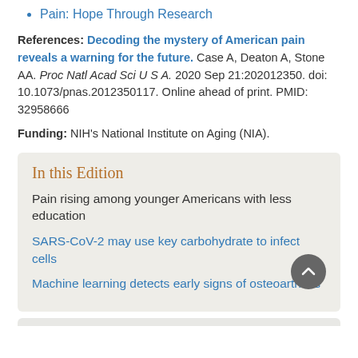Pain: Hope Through Research
References: Decoding the mystery of American pain reveals a warning for the future. Case A, Deaton A, Stone AA. Proc Natl Acad Sci U S A. 2020 Sep 21:202012350. doi: 10.1073/pnas.2012350117. Online ahead of print. PMID: 32958666
Funding: NIH’s National Institute on Aging (NIA).
In this Edition
Pain rising among younger Americans with less education
SARS-CoV-2 may use key carbohydrate to infect cells
Machine learning detects early signs of osteoarthritis